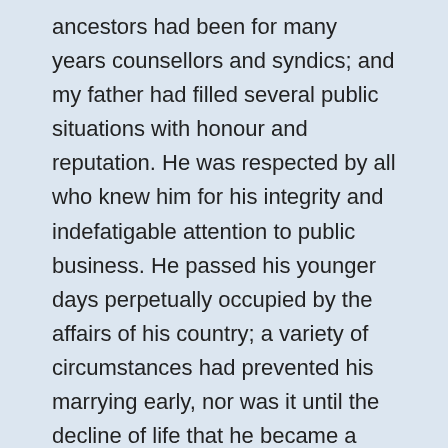ancestors had been for many years counsellors and syndics; and my father had filled several public situations with honour and reputation. He was respected by all who knew him for his integrity and indefatigable attention to public business. He passed his younger days perpetually occupied by the affairs of his country; a variety of circumstances had prevented his marrying early, nor was it until the decline of life that he became a husband and the father of a family.
As the circumstances of his marriage illustrate his character, I cannot refrain from relating them. One of his most intimate friends was a merchant, who, from a flourishing state, fell, through numerous mischances, into poverty